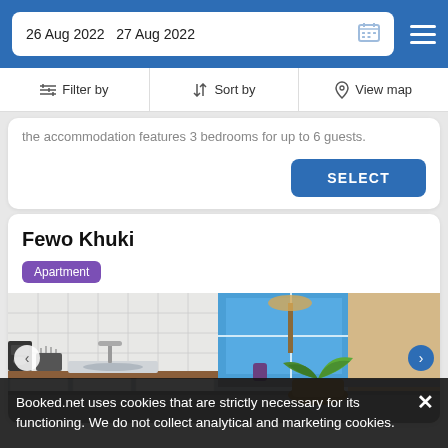26 Aug 2022   27 Aug 2022
Filter by   Sort by   View map
the accommodation features 3 bedrooms for up to 6 guests.
SELECT
Fewo Khuki
Apartment
[Figure (photo): Kitchen interior of Fewo Khuki apartment showing white cabinets, countertops, sink, knife block, and a potted plant near a window with blue light, plus a metallic surface in the foreground.]
Booked.net uses cookies that are strictly necessary for its functioning. We do not collect analytical and marketing cookies.